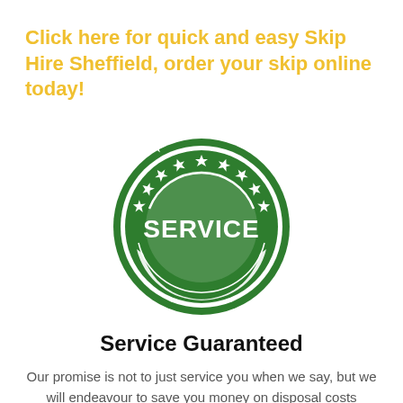Click here for quick and easy Skip Hire Sheffield, order your skip online today!
[Figure (logo): Green circular badge/stamp with text SERVICE GUARANTEED, stars along the top arc, and decorative double border rings.]
Service Guaranteed
Our promise is not to just service you when we say, but we will endeavour to save you money on disposal costs